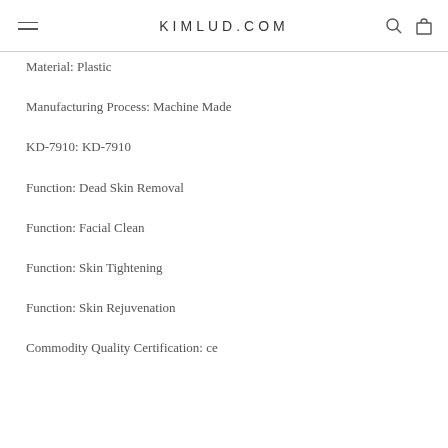KIMLUD.COM
Material: Plastic
Manufacturing Process: Machine Made
KD-7910: KD-7910
Function: Dead Skin Removal
Function: Facial Clean
Function: Skin Tightening
Function: Skin Rejuvenation
Commodity Quality Certification: ce